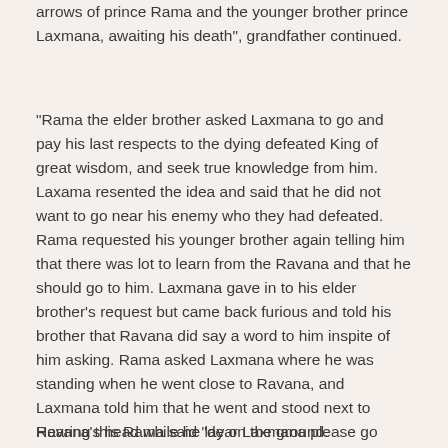arrows of prince Rama and the younger brother prince Laxmana, awaiting his death", grandfather continued.
“Rama the elder brother asked Laxmana to go and pay his last respects to the dying defeated King of great wisdom, and seek true knowledge from him. Laxama resented the idea and said that he did not want to go near his enemy who they had defeated. Rama requested his younger brother again telling him that there was lot to learn from the Ravana and that he should go to him. Laxmana gave in to his elder brother’s request but came back furious and told his brother that Ravana did say a word to him inspite of him asking. Rama asked Laxmana where he was standing when he went close to Ravana, and Laxmana told him that he went and stood next to Ravana’s head while he lay on the ground.
Hearing this Rama said “dear Laxmana please go